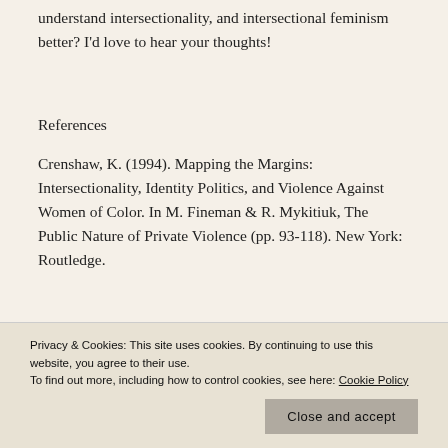understand intersectionality, and intersectional feminism better? I'd love to hear your thoughts!
References
Crenshaw, K. (1994). Mapping the Margins: Intersectionality, Identity Politics, and Violence Against Women of Color. In M. Fineman & R. Mykitiuk, The Public Nature of Private Violence (pp. 93-118). New York: Routledge.
Privacy & Cookies: This site uses cookies. By continuing to use this website, you agree to their use.
To find out more, including how to control cookies, see here: Cookie Policy